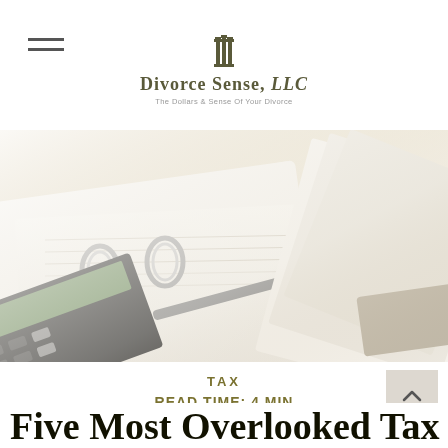Divorce Sense, LLC — The Dollars & Sense Of Your Divorce
[Figure (photo): Close-up photo of a binder with papers, a calculator, pen, and documents on a desk, with soft light in the background]
TAX
READ TIME: 4 MIN
Five Most Overlooked Tax